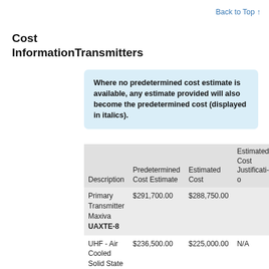Back to Top ↑
Cost Information Transmitters
Where no predetermined cost estimate is available, any estimate provided will also become the predetermined cost (displayed in italics).
| Description | Predetermined Cost Estimate | Estimated Cost | Estimated Cost Justification |
| --- | --- | --- | --- |
| Primary Transmitter Maxiva UAXTE-8 | $291,700.00 | $288,750.00 |  |
| UHF - Air Cooled Solid State Transmitter | $236,500.00 | $225,000.00 | N/A |